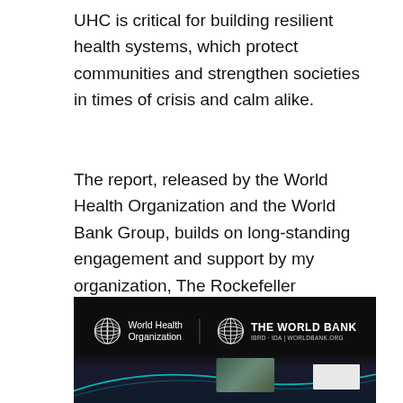UHC is critical for building resilient health systems, which protect communities and strengthen societies in times of crisis and calm alike.
The report, released by the World Health Organization and the World Bank Group, builds on long-standing engagement and support by my organization, The Rockefeller Foundation, to develop indicators to measure and monitor progress for UHC.
[Figure (screenshot): Dark background image showing World Health Organization and The World Bank logos side by side in white text, with a globe graphic for each organization. Below the logos is a partial view of a presentation slide with a cyan arc graphic and a thumbnail photo of people.]